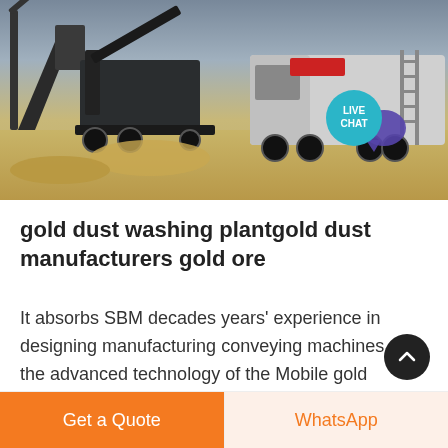[Figure (photo): Photograph of gold mining / ore processing equipment and machinery on a dry sandy site, with conveyor belts and heavy industrial machines. A 'LIVE CHAT' speech bubble icon appears in the lower right of the image.]
gold dust washing plantgold dust manufacturers gold ore
It absorbs SBM decades years' experience in designing manufacturing conveying machines and the advanced technology of the Mobile gold processing plant for sale in South Africa - zenith Mobile gold processing Gold Dust Washing gold
Get a Quote
WhatsApp